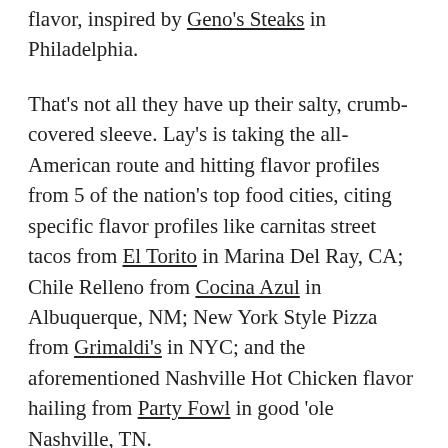flavor, inspired by Geno's Steaks in Philadelphia.
That's not all they have up their salty, crumb-covered sleeve. Lay's is taking the all-American route and hitting flavor profiles from 5 of the nation's top food cities, citing specific flavor profiles like carnitas street tacos from El Torito in Marina Del Ray, CA; Chile Relleno from Cocina Azul in Albuquerque, NM; New York Style Pizza from Grimaldi's in NYC; and the aforementioned Nashville Hot Chicken flavor hailing from Party Fowl in good 'ole Nashville, TN.